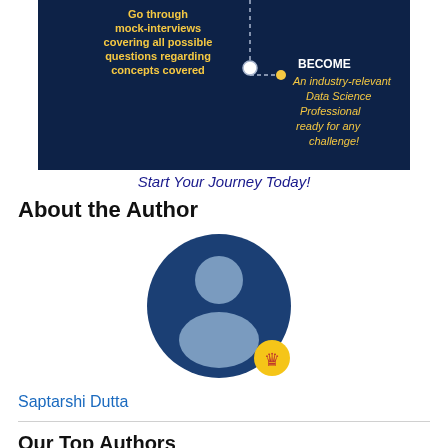[Figure (infographic): Dark navy infographic snippet showing a data science learning path. Left side shows yellow text 'Go through mock-interviews covering all possible questions regarding concepts covered'. Center shows a dotted line with two circle nodes. Right side shows 'BECOME An industry-relevant Data Science Professional ready for any challenge!' in yellow/gold text.]
Start Your Journey Today!
About the Author
[Figure (illustration): Circular profile avatar with dark blue background showing a generic grey person silhouette (head and shoulders). A small yellow/gold crown badge is overlaid at the bottom-right of the circle.]
Saptarshi Dutta
Our Top Authors